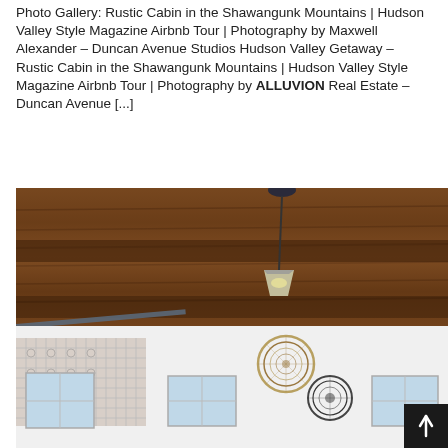Photo Gallery: Rustic Cabin in the Shawangunk Mountains | Hudson Valley Style Magazine Airbnb Tour | Photography by Maxwell Alexander – Duncan Avenue Studios Hudson Valley Getaway – Rustic Cabin in the Shawangunk Mountains | Hudson Valley Style Magazine Airbnb Tour | Photography by ALLUVION Real Estate – Duncan Avenue [...]
[Figure (photo): Interior photo of a rustic cabin showing exposed wooden beam ceiling with a glass pendant light hanging down, white walls below, decorative woven wall hangings, patterned tile backsplash on the left, multiple windows letting in natural light, and a scroll-to-top button in the bottom right corner.]